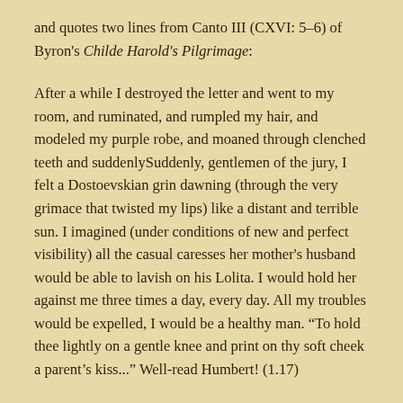and quotes two lines from Canto III (CXVI: 5–6) of Byron's Childe Harold's Pilgrimage:
After a while I destroyed the letter and went to my room, and ruminated, and rumpled my hair, and modeled my purple robe, and moaned through clenched teeth and suddenlySuddenly, gentlemen of the jury, I felt a Dostoevskian grin dawning (through the very grimace that twisted my lips) like a distant and terrible sun. I imagined (under conditions of new and perfect visibility) all the casual caresses her mother's husband would be able to lavish on his Lolita. I would hold her against me three times a day, every day. All my troubles would be expelled, I would be a healthy man. “To hold thee lightly on a gentle knee and print on thy soft cheek a parent’s kiss...” Well-read Humbert! (1.17)